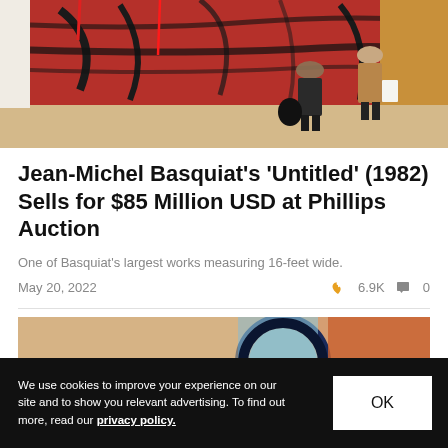[Figure (photo): Gallery interior with two people walking past a large abstract painting by Jean-Michel Basquiat, featuring red, black and orange strokes on canvas.]
Jean-Michel Basquiat's 'Untitled' (1982) Sells for $85 Million USD at Phillips Auction
One of Basquiat's largest works measuring 16-feet wide.
May 20, 2022   🔥 6.9K   💬 0
[Figure (photo): Partial view of a colorful abstract painting with dark circular brush stroke on blue, orange and green background.]
We use cookies to improve your experience on our site and to show you relevant advertising. To find out more, read our privacy policy.